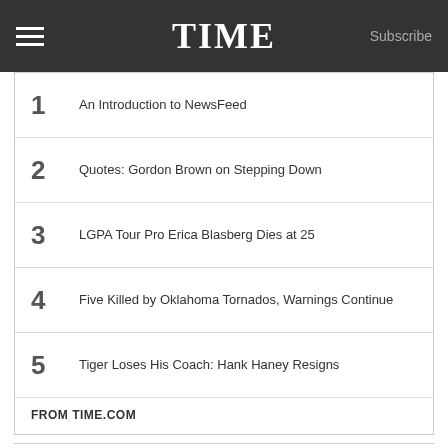TIME   Subscribe
1   An Introduction to NewsFeed
2   Quotes: Gordon Brown on Stepping Down
3   LGPA Tour Pro Erica Blasberg Dies at 25
4   Five Killed by Oklahoma Tornados, Warnings Continue
5   Tiger Loses His Coach: Hank Haney Resigns
FROM TIME.COM
CONNECT WITH TIME
Follow @TIME   19.3M followers